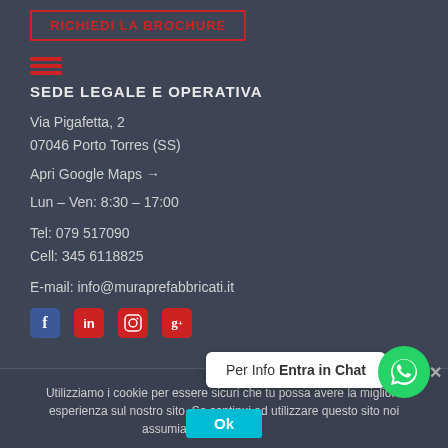RICHIEDI LA BROCHURE
SEDE LEGALE E OPERATIVA
Via Pigafetta, 2
07046 Porto Torres (SS)
Apri Google Maps →
Lun – Ven: 8:30 – 17:00
Tel: 079 517090
Cell: 345 6118825
E-mail: info@muraprefabbricati.it
[Figure (other): Social media icons: Facebook, LinkedIn, Instagram, Google+]
Utilizziamo i cookie per essere sicuri che tu possa avere la migliore esperienza sul nostro sito. Se continui ad utilizzare questo sito noi assumiamo che tu ne sia felice.
Per Info Entra in Chat
Ok